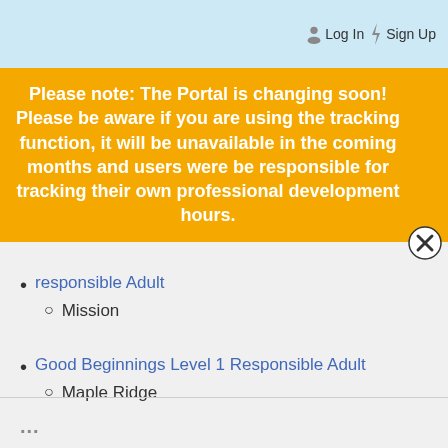Log In  Sign Up
Please note: The Portal is changing soon! Please be aware if you are using the tracking function, it will be unavailable in the coming months and users were be responsible for tracking their own professional development hours.
responsible Adult
Mission
Good Beginnings Level 1 Responsible Adult
Maple Ridge